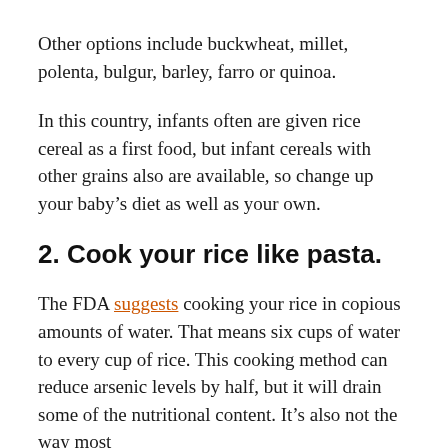Other options include buckwheat, millet, polenta, bulgur, barley, farro or quinoa.
In this country, infants often are given rice cereal as a first food, but infant cereals with other grains also are available, so change up your baby's diet as well as your own.
2. Cook your rice like pasta.
The FDA suggests cooking your rice in copious amounts of water. That means six cups of water to every cup of rice. This cooking method can reduce arsenic levels by half, but it will drain some of the nutritional content. It’s also not the way most